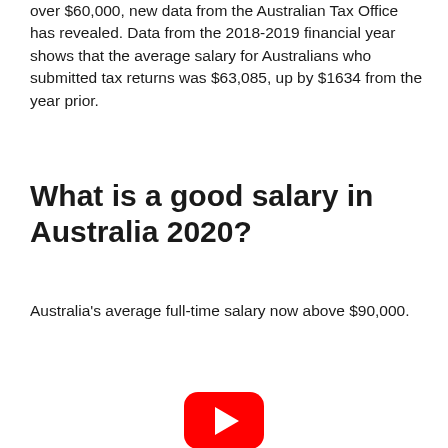over $60,000, new data from the Australian Tax Office has revealed. Data from the 2018-2019 financial year shows that the average salary for Australians who submitted tax returns was $63,085, up by $1634 from the year prior.
What is a good salary in Australia 2020?
Australia's average full-time salary now above $90,000.
[Figure (other): YouTube play button icon (red rounded rectangle with white triangle play arrow)]